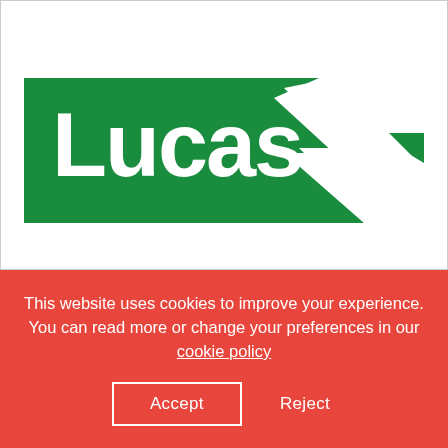[Figure (logo): Lucas brand logo: white text 'Lucas' in bold rounded font on a green rectangle background, with a white stylized lightning bolt / arrow shape in the top-right corner of the green band.]
This website uses cookies to improve your experience. You can read more or change your preferences in our cookie policy